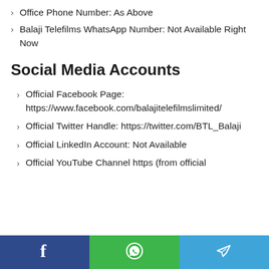Office Phone Number: As Above
Balaji Telefilms WhatsApp Number: Not Available Right Now
Social Media Accounts
Official Facebook Page: https://www.facebook.com/balajitelefilmslimited/
Official Twitter Handle: https://twitter.com/BTL_Balaji
Official LinkedIn Account: Not Available
Official YouTube Channel https (from official
Facebook | WhatsApp | Telegram